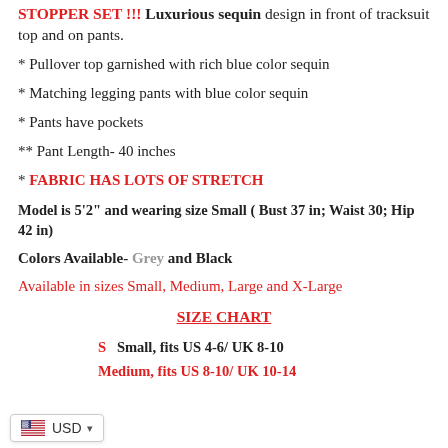STOPPER SET !!! Luxurious sequin design in front of tracksuit top and on pants.
* Pullover top garnished with rich blue color sequin
* Matching legging pants with blue color sequin
* Pants have pockets
** Pant Length- 40 inches
* FABRIC HAS LOTS OF STRETCH
Model is 5'2" and wearing size Small ( Bust 37 in; Waist 30; Hip 42 in)
Colors Available- Grey and Black
Available in sizes Small, Medium, Large and X-Large
SIZE CHART
S  Small, fits US 4-6/ UK 8-10
Medium, fits US 8-10/ UK 10-14